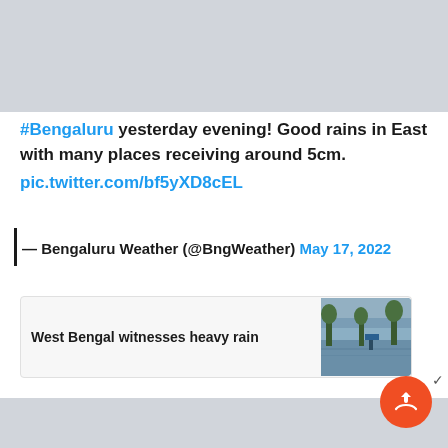#Bengaluru yesterday evening! Good rains in East with many places receiving around 5cm. pic.twitter.com/bf5yXD8cEL
— Bengaluru Weather (@BngWeather) May 17, 2022
West Bengal witnesses heavy rain
[Figure (photo): Flooded area with trees and water, thumbnail image]
According to the weather office, Karnataka will